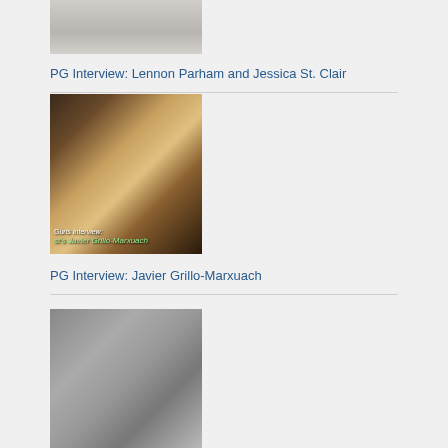[Figure (photo): Partial top of an image showing fabric/couch background, cropped]
PG Interview: Lennon Parham and Jessica St. Clair
[Figure (photo): Man with open mouth posing next to a polar bear taxidermy head; overlay text reads: Gurls Interview: st's Javier Grillo-Marxuach]
PG Interview: Javier Grillo-Marxuach
[Figure (photo): Black and white photo of a group of young people, multiple faces visible]